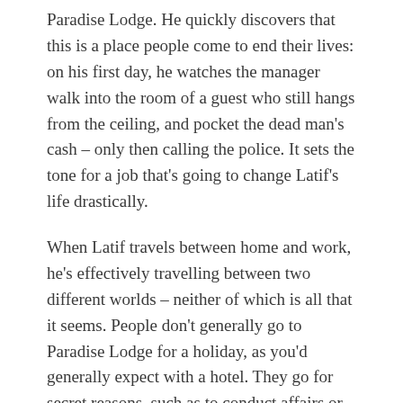Paradise Lodge. He quickly discovers that this is a place people come to end their lives: on his first day, he watches the manager walk into the room of a guest who still hangs from the ceiling, and pocket the dead man's cash – only then calling the police. It sets the tone for a job that's going to change Latif's life drastically.
When Latif travels between home and work, he's effectively travelling between two different worlds – neither of which is all that it seems. People don't generally go to Paradise Lodge for a holiday, as you'd generally expect with a hotel. They go for secret reasons, such as to conduct affairs or take their own lives. Latif's home island is sinking, but it's something the inhabitants can put out of their mind if they wish, because the ecologist working there doesn't speak